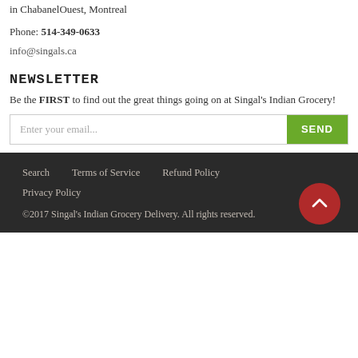in ChabanelOuest, Montreal
Phone: 514-349-0633
info@singals.ca
NEWSLETTER
Be the FIRST to find out the great things going on at Singal's Indian Grocery!
Enter your email...   SEND
Search   Terms of Service   Refund Policy   Privacy Policy   ©2017 Singal's Indian Grocery Delivery. All rights reserved.